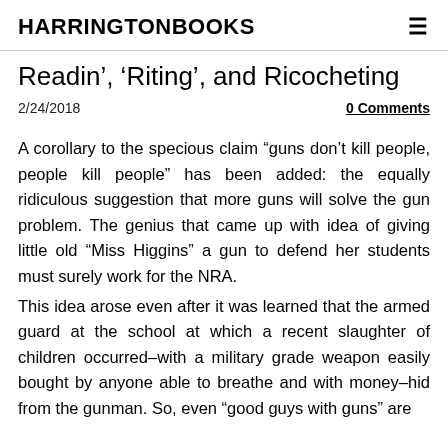HARRINGTONBOOKS
Readin', 'Riting', and Ricocheting
2/24/2018
0 Comments
A corollary to the specious claim “guns don’t kill people, people kill people” has been added: the equally ridiculous suggestion that more guns will solve the gun problem. The genius that came up with idea of giving little old “Miss Higgins” a gun to defend her students must surely work for the NRA.
This idea arose even after it was learned that the armed guard at the school at which a recent slaughter of children occurred–with a military grade weapon easily bought by anyone able to breathe and with money–hid from the gunman. So, even “good guys with guns” are